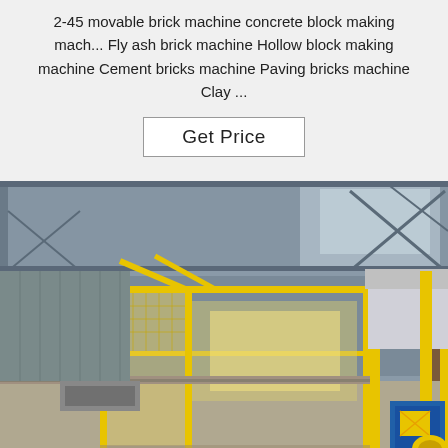2-45 movable brick machine concrete block making mach... Fly ash brick machine Hollow block making machine Cement bricks machine Paving bricks machine Clay ...
Get Price
[Figure (photo): Industrial factory interior showing yellow-framed brick/block making machinery with steel structure roof, concrete floor, and industrial equipment including caged assembly and press machines.]